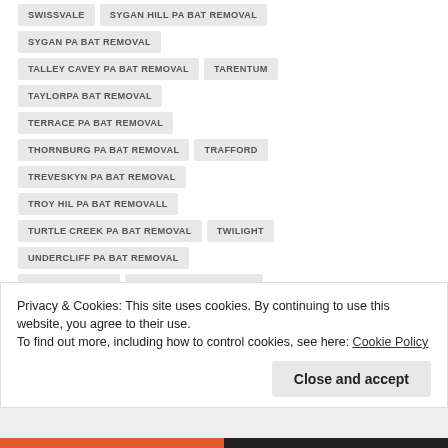SWISSVALE
SYGAN HILL PA BAT REMOVAL
SYGAN PA BAT REMOVAL
TALLEY CAVEY PA BAT REMOVAL
TARENTUM
TAYLORPA BAT REMOVAL
TERRACE PA BAT REMOVAL
THORNBURG PA BAT REMOVAL
TRAFFORD
TREVESKYN PA BAT REMOVAL
TROY HIL PA BAT REMOVALL
TURTLE CREEK PA BAT REMOVAL
TWILIGHT
UNDERCLIFF PA BAT REMOVAL
UNITY JUNCTION
UNITY PA BAT REMOVAL
Privacy & Cookies: This site uses cookies. By continuing to use this website, you agree to their use.
To find out more, including how to control cookies, see here: Cookie Policy
Close and accept